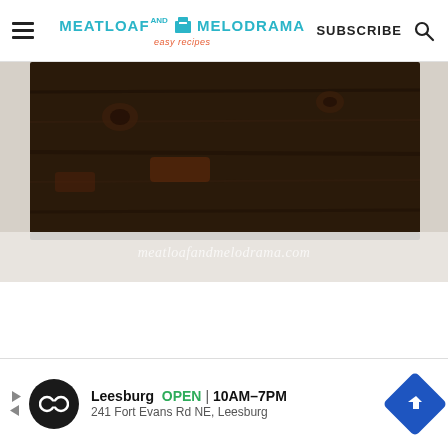MEATLOAF AND MELODRAMA easy recipes | SUBSCRIBE
[Figure (photo): Dark stained wood plank board against white/gray background with watermark text 'meatloafandmelodrama.com']
[Figure (infographic): Advertisement: Leesburg OPEN 10AM-7PM, 241 Fort Evans Rd NE, Leesburg — with infinity symbol logo and blue navigation arrow icon]